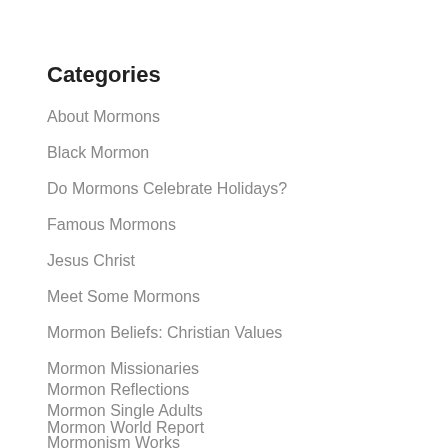Categories
About Mormons
Black Mormon
Do Mormons Celebrate Holidays?
Famous Mormons
Jesus Christ
Meet Some Mormons
Mormon Beliefs: Christian Values
Mormon Missionaries
Mormon Reflections
Mormon Single Adults
Mormon World Report
Mormonism Works